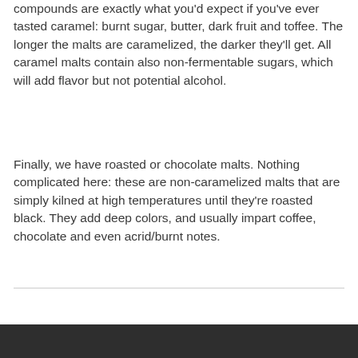compounds are exactly what you'd expect if you've ever tasted caramel: burnt sugar, butter, dark fruit and toffee. The longer the malts are caramelized, the darker they'll get. All caramel malts contain also non-fermentable sugars, which will add flavor but not potential alcohol.
Finally, we have roasted or chocolate malts. Nothing complicated here: these are non-caramelized malts that are simply kilned at high temperatures until they're roasted black. They add deep colors, and usually impart coffee, chocolate and even acrid/burnt notes.